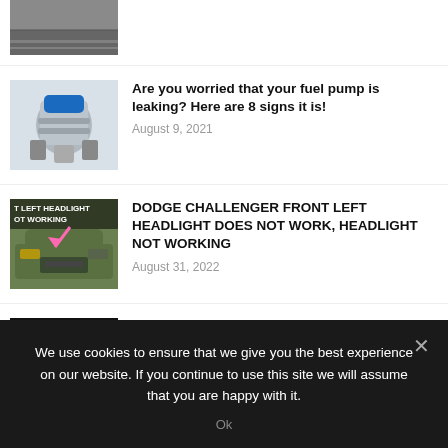[Figure (photo): Partial view of a road/pavement photo thumbnail at top]
[Figure (photo): Fuel pump component - silver and blue cylindrical fuel pump]
Are you worried that your fuel pump is leaking? Here are 8 signs it is!
August 9, 2021
[Figure (photo): Dodge Challenger front with 'LEFT HEADLIGHT NOT WORKING' text overlay and pink arrow]
DODGE CHALLENGER FRONT LEFT HEADLIGHT DOES NOT WORK, HEADLIGHT NOT WORKING
August 31, 2022
[Figure (photo): Engine bay sensor photo with 'NSOR, MUST SEE' text overlay and red arrow]
DODGE CHARGER MAP SENSOR REPLACEMENT LOCATION REMOVAL, WHERE IS MAP SENSOR
August 31, 2022
We use cookies to ensure that we give you the best experience on our website. If you continue to use this site we will assume that you are happy with it.
Ok